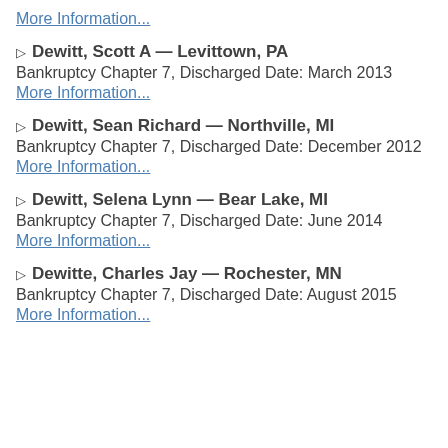More Information...
▷ Dewitt, Scott A — Levittown, PA
Bankruptcy Chapter 7, Discharged Date: March 2013
More Information...
▷ Dewitt, Sean Richard — Northville, MI
Bankruptcy Chapter 7, Discharged Date: December 2012
More Information...
▷ Dewitt, Selena Lynn — Bear Lake, MI
Bankruptcy Chapter 7, Discharged Date: June 2014
More Information...
▷ Dewitte, Charles Jay — Rochester, MN
Bankruptcy Chapter 7, Discharged Date: August 2015
More Information...